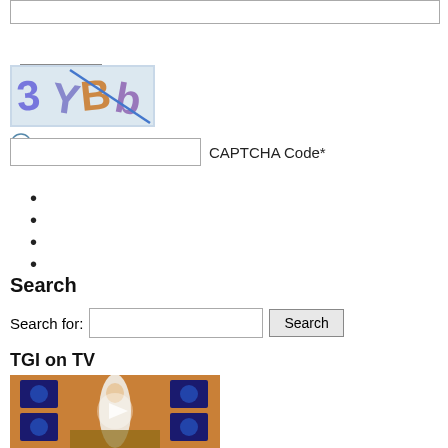[Figure (screenshot): Text input field at the top of a web form]
Submit Comment
[Figure (photo): CAPTCHA image showing characters '3YBb' with a diagonal line through them, on a light blue background]
[Figure (other): Refresh/reload icon for CAPTCHA]
CAPTCHA Code*
Search
Search for:
TGI on TV
[Figure (photo): TV studio scene showing a woman in white dress at a counter, multiple television screens in background displaying logos, warm orange lighting]